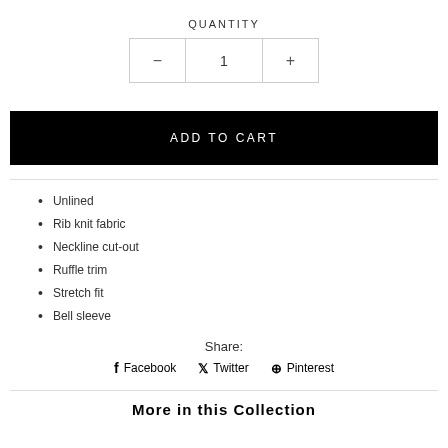QUANTITY
[Figure (other): Quantity selector with minus button, number 1, and plus button]
ADD TO CART
Unlined
Rib knit fabric
Neckline cut-out
Ruffle trim
Stretch fit
Bell sleeve
Share:
f Facebook   Twitter   Pinterest
More in this Collection